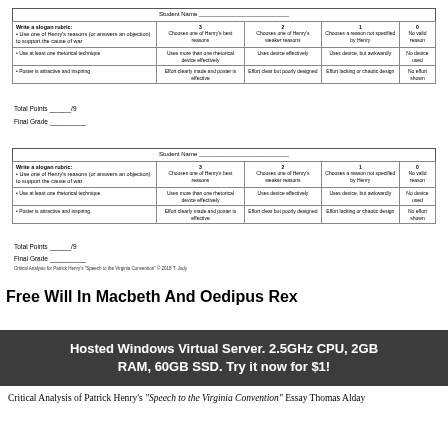| Write a slogan rubric: | 3 | 2 | 1 | 0 |
| --- | --- | --- | --- | --- |
| Use one of Henry's reasons (or answers an objection) to support the cause of war | Chooses one of Henry's best reasons | Chooses one of Henry's weaker reasons | Chooses a reason not specified by Henry | No valid reason |
| Use at least one rhetorical technique | Uses more than one rhetorical device effectively | Uses device effectively | Uses device, but awkwardly | No device used |
| Poster is attractive and inspiring | Effort clearly made and poster is effective | Effort clear but poorly designed | Effort lacking or chaotic design | No effort shown |
Total Points ______/9
Final Grade __________
| Write a slogan rubric: | 3 | 2 | 1 | 0 |
| --- | --- | --- | --- | --- |
| Use one of Henry's reasons (or answers an objection) to support the cause of war | Chooses one of Henry's best reasons | Chooses one of Henry's weaker reasons | Chooses a reason not specified by Henry | No valid reason |
| Use at least one rhetorical technique | Uses more than one rhetorical device effectively | Uses device effectively | Uses device, but awkwardly | No device used |
| Poster is attractive and inspiring | Effort clearly made and poster is effective | Effort clear but poorly designed | Effort lacking or chaotic design | No effort shown |
Total Points ______/9
Final Grade __________
Critical Analysis for Patrick Henry's "Speech to the Virginia Convention" © 2018 T. Judy
Free Will In Macbeth And Oedipus Rex
Hosted Windows Virtual Server. 2.5GHz CPU, 2GB RAM, 60GB SSD. Try it now for $1!
Critical Analysis of Patrick Henry's "Speech to the Virginia Convention" Essay Thomas Alday